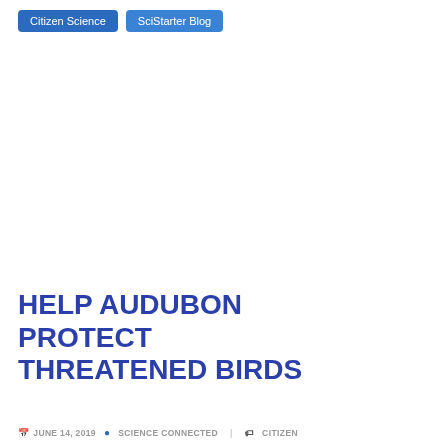Citizen Science | SciStarter Blog
HELP AUDUBON PROTECT THREATENED BIRDS
JUNE 14, 2019 • SCIENCE CONNECTED | CITIZEN